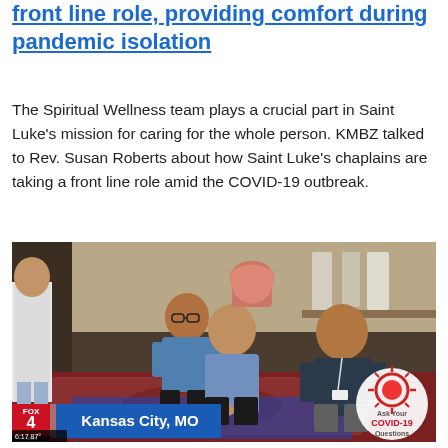front line role, providing comfort during pandemic isolation
The Spiritual Wellness team plays a crucial part in Saint Luke's mission for caring for the whole person. KMBZ talked to Rev. Susan Roberts about how Saint Luke's chaplains are taking a front line role amid the COVID-19 outbreak.
[Figure (photo): FOX 4 News broadcast screenshot showing people seated on a prayer rug on the floor in a room, with a 'Kansas City, MO' chyron and a COVID-19 Questions badge in the lower right corner.]